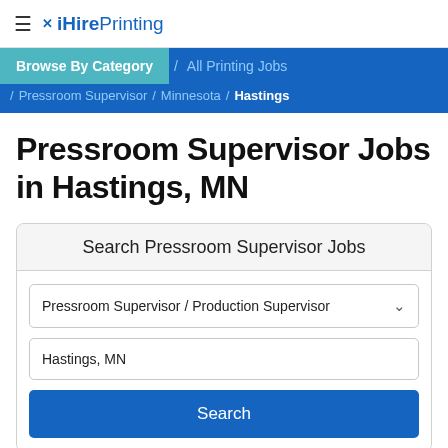≡ ✗ iHirePrinting
Browse By Category / All Printing Jobs / Pressroom Supervisor / Minnesota / Hastings
Pressroom Supervisor Jobs in Hastings, MN
Search Pressroom Supervisor Jobs
Pressroom Supervisor / Production Supervisor
Hastings, MN
Search